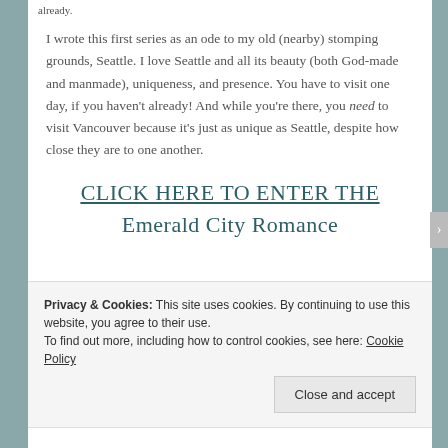already.
I wrote this first series as an ode to my old (nearby) stomping grounds, Seattle. I love Seattle and all its beauty (both God-made and manmade), uniqueness, and presence. You have to visit one day, if you haven't already! And while you're there, you need to visit Vancouver because it's just as unique as Seattle, despite how close they are to one another.
Click here to enter the Emerald City Romance
Privacy & Cookies: This site uses cookies. By continuing to use this website, you agree to their use. To find out more, including how to control cookies, see here: Cookie Policy
Close and accept